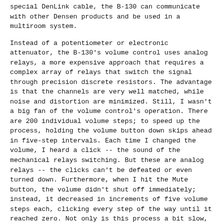special DenLink cable, the B-130 can communicate with other Densen products and be used in a multiroom system.
Instead of a potentiometer or electronic attenuator, the B-130's volume control uses analog relays, a more expensive approach that requires a complex array of relays that switch the signal through precision discrete resistors. The advantage is that the channels are very well matched, while noise and distortion are minimized. Still, I wasn't a big fan of the volume control's operation. There are 200 individual volume steps; to speed up the process, holding the volume button down skips ahead in five-step intervals. Each time I changed the volume, I heard a click -- the sound of the mechanical relays switching. But these are analog relays -- the clicks can't be defeated or even turned down. Furthermore, when I hit the Mute button, the volume didn't shut off immediately; instead, it decreased in increments of five volume steps each, clicking every step of the way until it reached zero. Not only is this process a bit slow, it's annoying. Most likely,